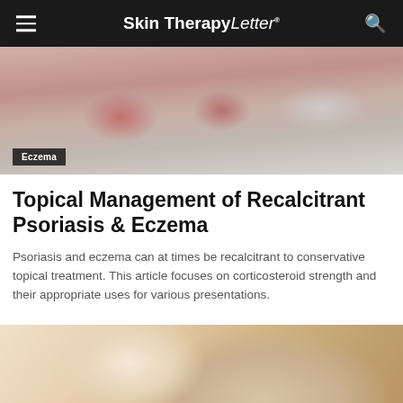Skin Therapy Letter
[Figure (photo): Close-up photo of skin with psoriasis/eczema plaques — reddish-pink raised patches with white/silver scaling, labeled Eczema]
Topical Management of Recalcitrant Psoriasis & Eczema
Psoriasis and eczema can at times be recalcitrant to conservative topical treatment. This article focuses on corticosteroid strength and their appropriate uses for various presentations.
[Figure (photo): Close-up photo of skin showing dry, flaky, textured skin consistent with eczema on what appears to be a hand or foot]